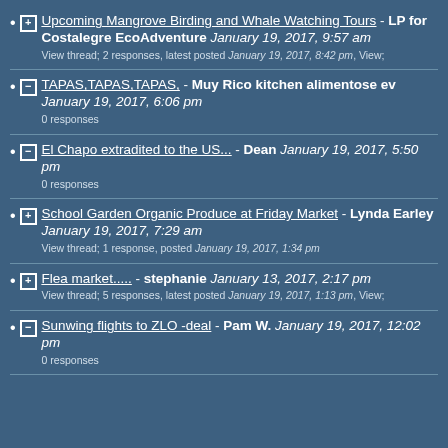Upcoming Mangrove Birding and Whale Watching Tours - LP for Costalegre EcoAdventure January 19, 2017, 9:57 am
View thread; 2 responses, latest posted January 19, 2017, 8:42 pm, View;
TAPAS,TAPAS,TAPAS, - Muy Rico kitchen alimentose ev January 19, 2017, 6:06 pm
0 responses
El Chapo extradited to the US... - Dean January 19, 2017, 5:50 pm
0 responses
School Garden Organic Produce at Friday Market - Lynda Earley January 19, 2017, 7:29 am
View thread; 1 response, posted January 19, 2017, 1:34 pm
Flea market..... - stephanie January 13, 2017, 2:17 pm
View thread; 5 responses, latest posted January 19, 2017, 1:13 pm, View;
Sunwing flights to ZLO -deal - Pam W. January 19, 2017, 12:02 pm
0 responses